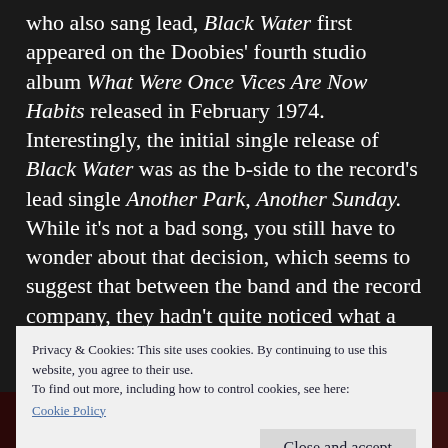who also sang lead, Black Water first appeared on the Doobies' fourth studio album What Were Once Vices Are Now Habits released in February 1974. Interestingly, the initial single release of Black Water was as the b-side to the record's lead single Another Park, Another Sunday. While it's not a bad song, you still have to wonder about that decision, which seems to suggest that between the band and the record company, they hadn't quite noticed what a gem Black Water was.
Privacy & Cookies: This site uses cookies. By continuing to use this website, you agree to their use.
To find out more, including how to control cookies, see here:
Cookie Policy
Close and accept
[Figure (photo): Bottom strip showing a partial image, appears to be reddish/dark tones with a YouTube-style play button visible in the center]